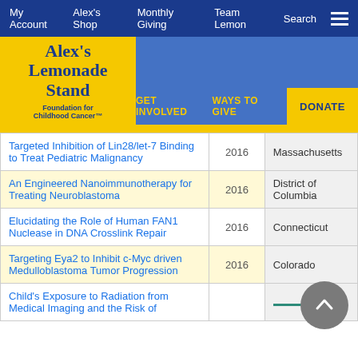My Account   Alex's Shop   Monthly Giving   Team Lemon   Search
[Figure (logo): Alex's Lemonade Stand Foundation for Childhood Cancer logo on yellow background]
GET INVOLVED   WAYS TO GIVE   DONATE
|  | Year | State |
| --- | --- | --- |
| Targeted Inhibition of Lin28/let-7 Binding to Treat Pediatric Malignancy | 2016 | Massachusetts |
| An Engineered Nanoimmunotherapy for Treating Neuroblastoma | 2016 | District of Columbia |
| Elucidating the Role of Human FAN1 Nuclease in DNA Crosslink Repair | 2016 | Connecticut |
| Targeting Eya2 to Inhibit c-Myc driven Medulloblastoma Tumor Progression | 2016 | Colorado |
| Child's Exposure to Radiation from Medical Imaging and the Risk of |  |  |